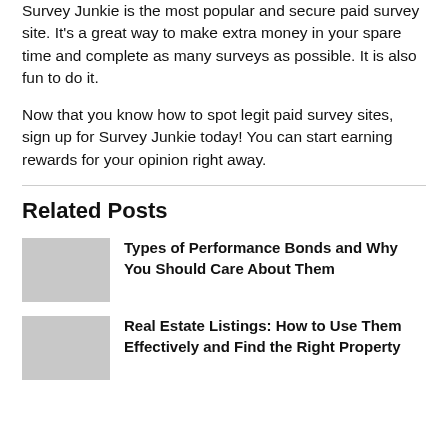Survey Junkie is the most popular and secure paid survey site. It’s a great way to make extra money in your spare time and complete as many surveys as possible. It is also fun to do it.
Now that you know how to spot legit paid survey sites, sign up for Survey Junkie today! You can start earning rewards for your opinion right away.
Related Posts
Types of Performance Bonds and Why You Should Care About Them
Real Estate Listings: How to Use Them Effectively and Find the Right Property